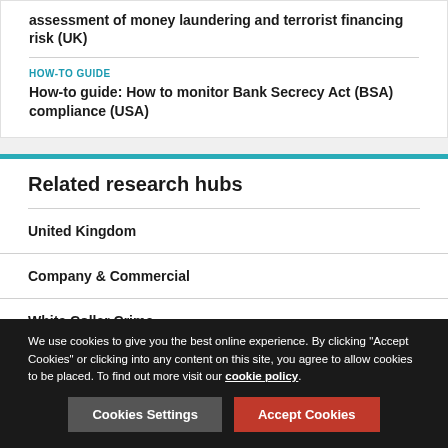assessment of money laundering and terrorist financing risk (UK)
HOW-TO GUIDE
How-to guide: How to monitor Bank Secrecy Act (BSA) compliance (USA)
Related research hubs
United Kingdom
Company & Commercial
White Collar Crime
We use cookies to give you the best online experience. By clicking "Accept Cookies" or clicking into any content on this site, you agree to allow cookies to be placed. To find out more visit our cookie policy.